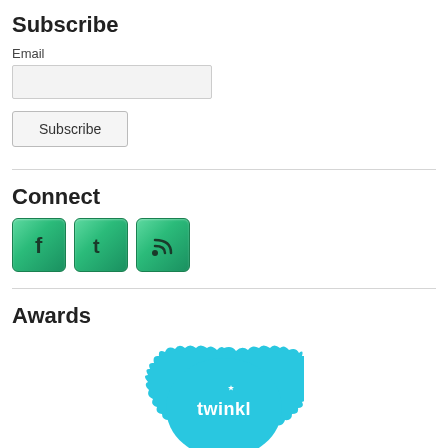Subscribe
Email
Connect
[Figure (illustration): Three green social media icon buttons: Facebook (f), Twitter (t), and RSS feed icons]
Awards
[Figure (logo): Twinkl award badge in blue/cyan color with the word 'twinkl' visible]